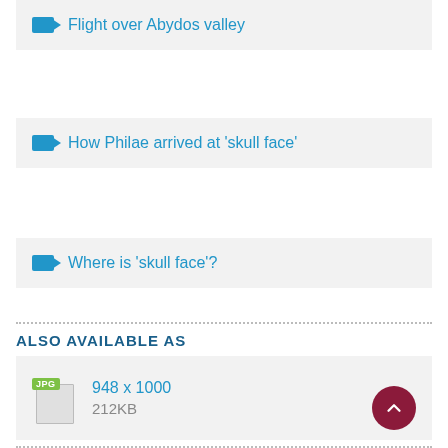Flight over Abydos valley
How Philae arrived at 'skull face'
Where is 'skull face'?
ALSO AVAILABLE AS
948 x 1000
212KB